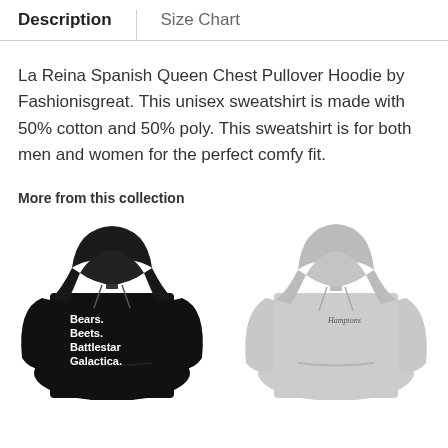Description | Size Chart
La Reina Spanish Queen Chest Pullover Hoodie by Fashionisgreat. This unisex sweatshirt is made with 50% cotton and 50% poly. This sweatshirt is for both men and women for the perfect comfy fit.
More from this collection
[Figure (photo): Black pullover hoodie with text 'Bears. Beets. Battlestar Galactica.' printed on chest]
[Figure (photo): Gray/light pullover hoodie with small script text on chest]